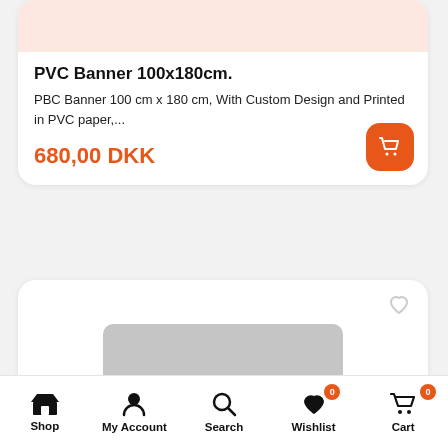PVC Banner 100x180cm.
PBC Banner 100 cm x 180 cm, With Custom Design and Printed in PVC paper,...
680,00 DKK
[Figure (screenshot): Second product card with gray placeholder image showing folder/document icon]
Shop | My Account | Search | Wishlist | Cart